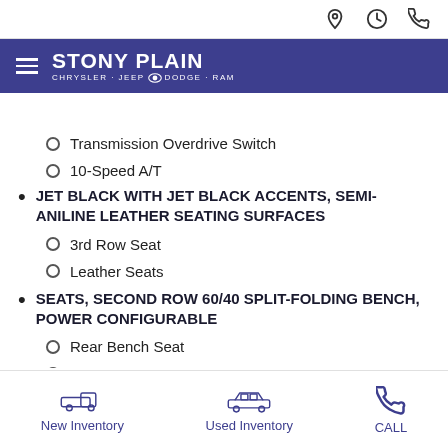Stony Plain Chrysler Jeep Dodge Ram — Navigation header
Transmission Overdrive Switch
10-Speed A/T
JET BLACK WITH JET BLACK ACCENTS, SEMI-ANILINE LEATHER SEATING SURFACES
3rd Row Seat
Leather Seats
SEATS, SECOND ROW 60/40 SPLIT-FOLDING BENCH, POWER CONFIGURABLE
Rear Bench Seat
Pass-Through Rear Seat
New Inventory | Used Inventory | CALL